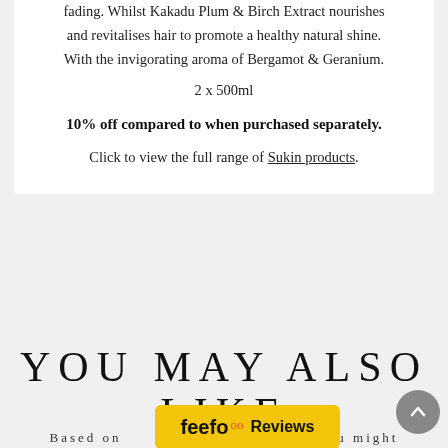fading. Whilst Kakadu Plum & Birch Extract nourishes and revitalises hair to promote a healthy natural shine. With the invigorating aroma of Bergamot & Geranium.
2 x 500ml
10% off compared to when purchased separately.
Click to view the full range of Sukin products.
YOU MAY ALSO LIKE
Based on ... ou might
[Figure (logo): Feefo Reviews badge — yellow rounded rectangle with 'feefo' logo and 'Reviews' text]